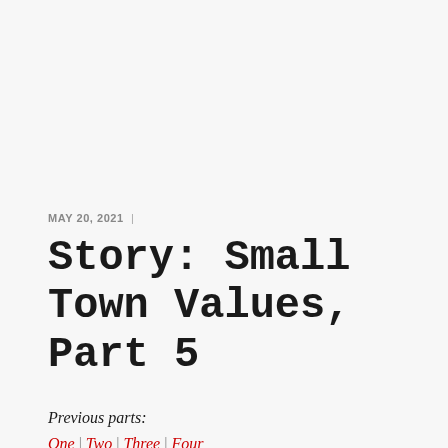MAY 20, 2021  |
Story: Small Town Values, Part 5
Previous parts:
One | Two | Three | Four